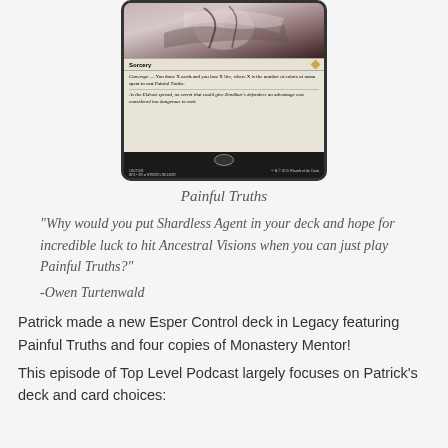[Figure (photo): Magic: The Gathering card 'Painful Truths' showing card art, type line reading 'Sorcery', rules text with Converge mechanic, and flavor text about the Eldrazi. Card number 120/274 R from BFZ set, illustrated by Winona Nelson.]
Painful Truths
“Why would you put Shardless Agent in your deck and hope for incredible luck to hit Ancestral Visions when you can just play Painful Truths?”
-Owen Turtenwald
Patrick made a new Esper Control deck in Legacy featuring Painful Truths and four copies of Monastery Mentor!
This episode of Top Level Podcast largely focuses on Patrick's deck and card choices: